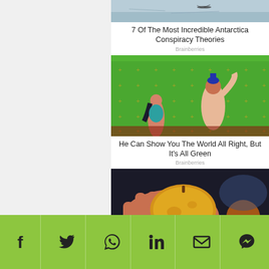[Figure (photo): Antarctica aerial photo showing ice and a small aircraft]
7 Of The Most Incredible Antarctica Conspiracy Theories
Brainberries
[Figure (photo): Animated scene from Aladdin with characters on green screen background]
He Can Show You The World All Right, But It's All Green
Brainberries
[Figure (photo): Hand holding a large mango fruit]
Social share bar with Facebook, Twitter, WhatsApp, LinkedIn, Email, Messenger icons